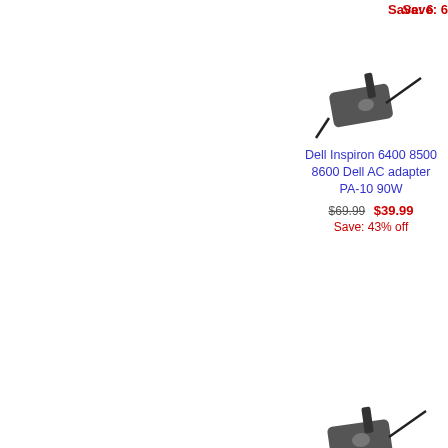Save: 6...
[Figure (photo): Dell AC adapter PA-10 90W product photo]
Dell Inspiron 6400 8500 8600 Dell AC adapter PA-10 90W
$69.99 $39.99
Save: 43% off
[Figure (photo): Dell Inspiron 500m 505m AC adapter product photo (partially visible)]
Dell Inspi... 500m 505m... AC adapter b...
$69.99 ...
Save: 4...
[Figure (photo): Dell XPS M1210 M140 AC adapter PA-10 90W product photo]
Dell XPS M1210 M140 M1020 M1330Dell AC adapter PA-10 90W
$69.99 $39.99
Save: 43% off
[Figure (photo): Dell Laptop XPS M170 130W AC adapter product photo (partially visible)]
Dell Laptop 5... XPS M170 D... 130W AC ...
$99.99 ...
Save: 5...
[Figure (photo): Dell Inspiron 700m 710m E1405 E1505 PA-12 AC adapter product photo]
Dell Inspiron 700m 710m E1405 E1505 Dell PA-12 AC adapter
$109.99 $34.99
Save: 68% off
[Figure (photo): Dell Inspiron 610m 630m PA-12 AC adapter product photo (partially visible)]
Dell Inspi... 610m 630m... PA-12 AC...
$109.99 ...
Save: 6...